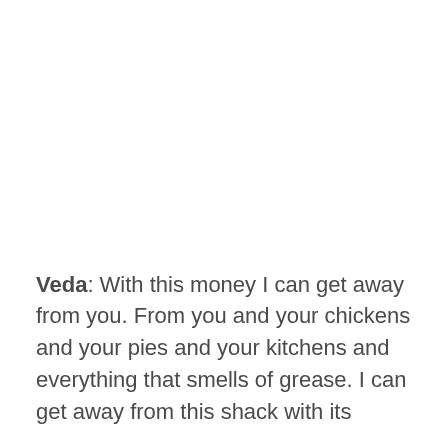Veda: With this money I can get away from you. From you and your chickens and your pies and your kitchens and everything that smells of grease. I can get away from this shack with its